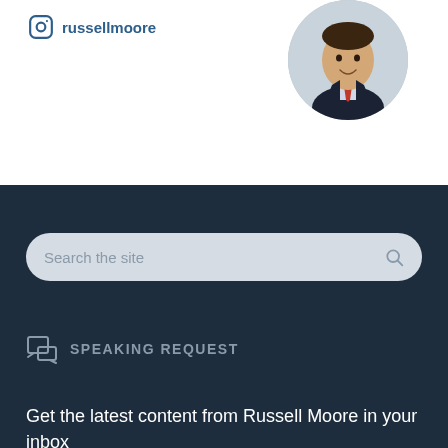russellmoore
[Figure (photo): Circular profile photo of Russell Moore, a man in a dark suit with a red tie, smiling]
Search the site
SPEAKING REQUEST
Get the latest content from Russell Moore in your inbox